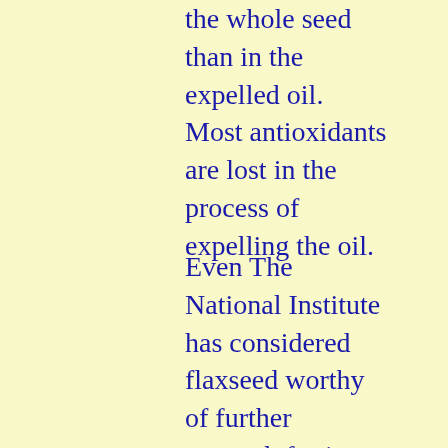the whole seed than in the expelled oil.  Most antioxidants are lost in the process of expelling the oil.
Even The National Institute has considered flaxseed worthy of further research for its cancer-